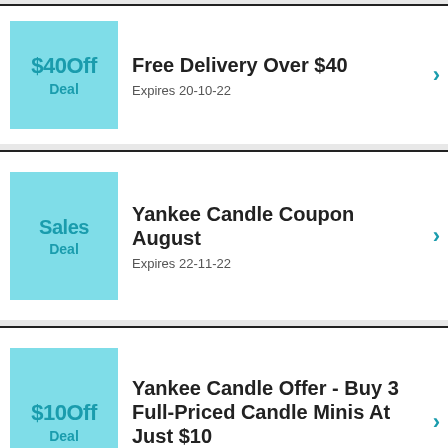$40Off Deal — Free Delivery Over $40 — Expires 20-10-22
Sales Deal — Yankee Candle Coupon August — Expires 22-11-22
$10Off Deal — Yankee Candle Offer - Buy 3 Full-Priced Candle Minis At Just $10 — Expires 16-9-22